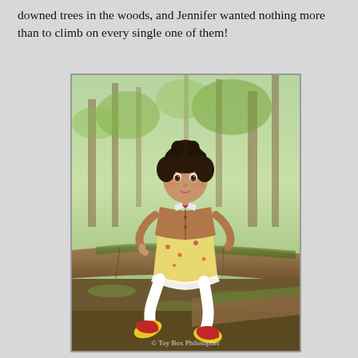downed trees in the woods, and Jennifer wanted nothing more than to climb on every single one of them!
[Figure (photo): A doll with dark curly hair wearing a brown cardigan over a yellow floral dress with white lace trim, white tights, and red shoes with yellow soles, sitting on a moss-covered fallen log in a sunlit woodland setting. Watermark reads '© Toy Box Philosopher'.]